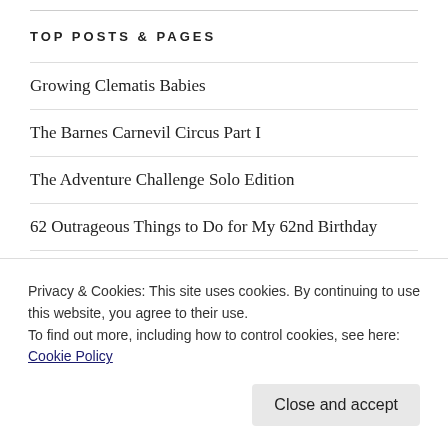TOP POSTS & PAGES
Growing Clematis Babies
The Barnes Carnevil Circus Part I
The Adventure Challenge Solo Edition
62 Outrageous Things to Do for My 62nd Birthday
10 Good Luck Traditions from Italy
Tradd Street Series
Going Beyond Procrastination
Privacy & Cookies: This site uses cookies. By continuing to use this website, you agree to their use.
To find out more, including how to control cookies, see here: Cookie Policy
Close and accept